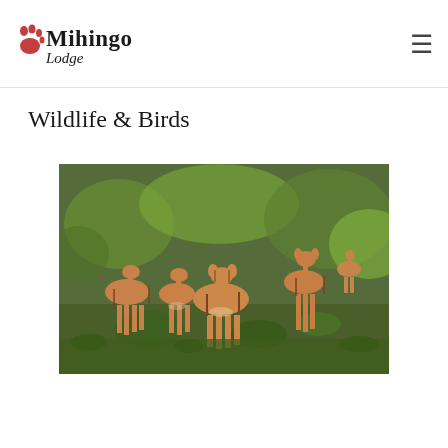Mihingo Lodge
Wildlife & Birds
[Figure (photo): A herd of impalas (antelopes) standing in a lush green African savanna setting, with multiple animals visible at various distances, some looking alert toward the camera.]